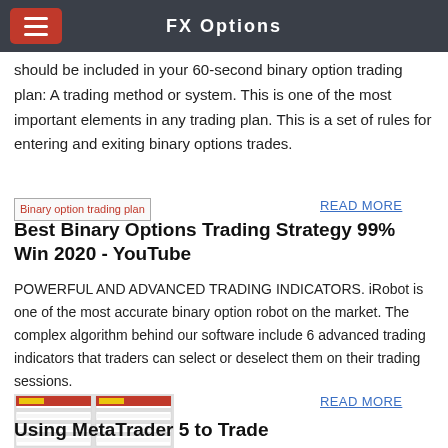FX Options
should be included in your 60-second binary option trading plan: A trading method or system. This is one of the most important elements in any trading plan. This is a set of rules for entering and exiting binary options trades.
[Figure (screenshot): Broken image placeholder labeled 'Binary option trading plan' in red text]
READ MORE
Best Binary Options Trading Strategy 99% Win 2020 - YouTube
POWERFUL AND ADVANCED TRADING INDICATORS. iRobot is one of the most accurate binary option robot on the market. The complex algorithm behind our software include 6 advanced trading indicators that traders can select or deselect them on their trading sessions.
[Figure (screenshot): Screenshot thumbnail of a trading table/spreadsheet]
READ MORE
Using MetaTrader 5 to Trade